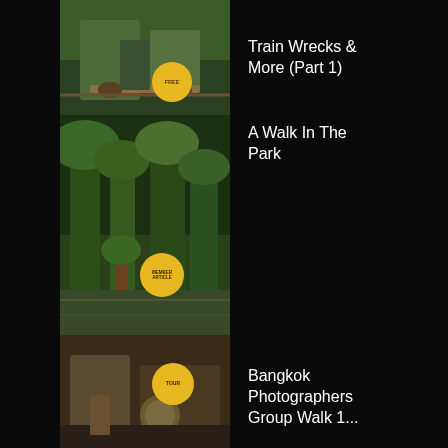Train Wrecks & More (Part 1)
A Walk In The Park
Bangkok Photographers Group Walk 1...
Bangkok Photographers Group Walk 1...
Bangkok